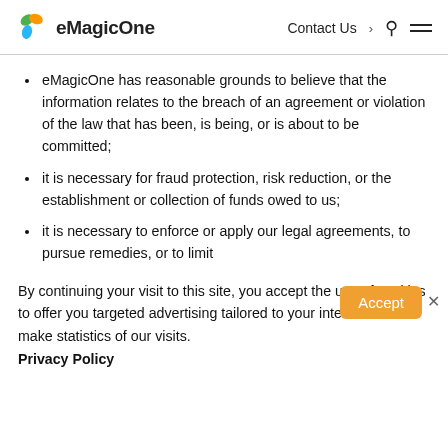eMagicOne | Contact Us
eMagicOne has reasonable grounds to believe that the information relates to the breach of an agreement or violation of the law that has been, is being, or is about to be committed;
it is necessary for fraud protection, risk reduction, or the establishment or collection of funds owed to us;
it is necessary to enforce or apply our legal agreements, to pursue remedies, or to limit
By continuing your visit to this site, you accept the use of cookies to offer you targeted advertising tailored to your interests and make statistics of our visits. Privacy Policy